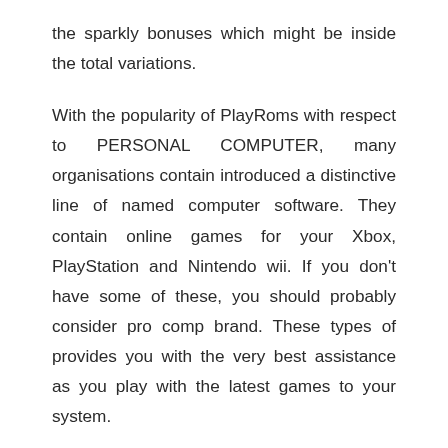the sparkly bonuses which might be inside the total variations.
With the popularity of PlayRoms with respect to PERSONAL COMPUTER, many organisations contain introduced a distinctive line of named computer software. They contain online games for your Xbox, PlayStation and Nintendo wii. If you don't have some of these, you should probably consider pro comp brand. These types of provides you with the very best assistance as you play with the latest games to your system.
The costs of PlayRoms designed for COMPUTER is additionally somewhat unlike the costs of some other